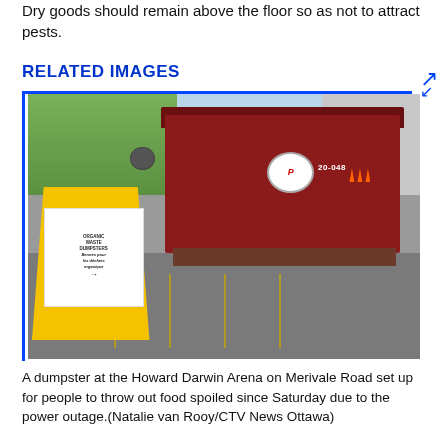Dry goods should remain above the floor so as not to attract pests.
RELATED IMAGES
[Figure (photo): A large red dumpster labeled '20-048' with a No Parking sign on it, parked in a lot at Howard Darwin Arena. A yellow A-frame sign in the foreground reads 'ORGANIC WASTE DUMPSTERS / BENNES POUR LES DÉCHETS ORGANIQUE' with an arrow pointing right. Orange traffic cones are visible in the background.]
A dumpster at the Howard Darwin Arena on Merivale Road set up for people to throw out food spoiled since Saturday due to the power outage.(Natalie van Rooy/CTV News Ottawa)